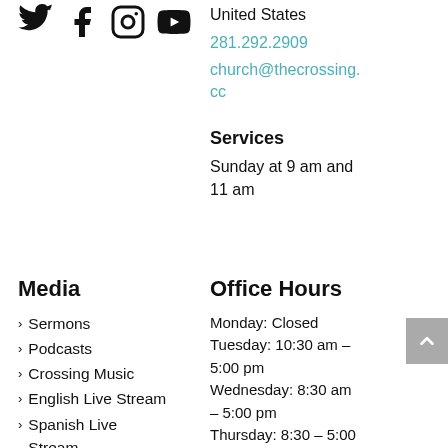[Figure (illustration): Social media icons: Twitter, Facebook, Instagram, YouTube]
United States
281.292.2909
church@thecrossing.cc
Services
Sunday at 9 am and 11 am
Media
Sermons
Podcasts
Crossing Music
English Live Stream
Spanish Live Stream
Office Hours
Monday: Closed
Tuesday: 10:30 am – 5:00 pm
Wednesday: 8:30 am – 5:00 pm
Thursday: 8:30 – 5:00 pm